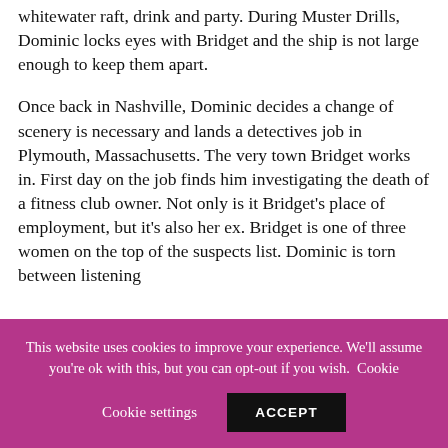whitewater raft, drink and party. During Muster Drills, Dominic locks eyes with Bridget and the ship is not large enough to keep them apart.
Once back in Nashville, Dominic decides a change of scenery is necessary and lands a detectives job in Plymouth, Massachusetts. The very town Bridget works in. First day on the job finds him investigating the death of a fitness club owner. Not only is it Bridget's place of employment, but it's also her ex. Bridget is one of three women on the top of the suspects list. Dominic is torn between listening
This website uses cookies to improve your experience. We'll assume you're ok with this, but you can opt-out if you wish. Cookie settings ACCEPT